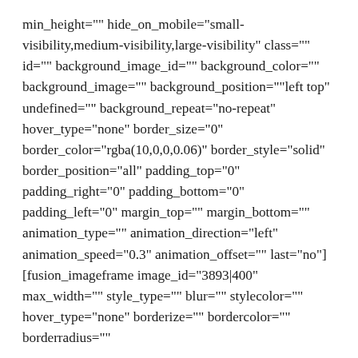min_height="" hide_on_mobile="small-visibility,medium-visibility,large-visibility" class="" id="" background_image_id="" background_color="" background_image="" background_position=""left top" undefined="" background_repeat="no-repeat" hover_type="none" border_size="0" border_color="rgba(10,0,0,0.06)" border_style="solid" border_position="all" padding_top="0" padding_right="0" padding_bottom="0" padding_left="0" margin_top="" margin_bottom="" animation_type="" animation_direction="left" animation_speed="0.3" animation_offset="" last="no"][fusion_imageframe image_id="3893|400" max_width="" style_type="" blur="" stylecolor="" hover_type="none" borderize="" bordercolor="" borderradius=""